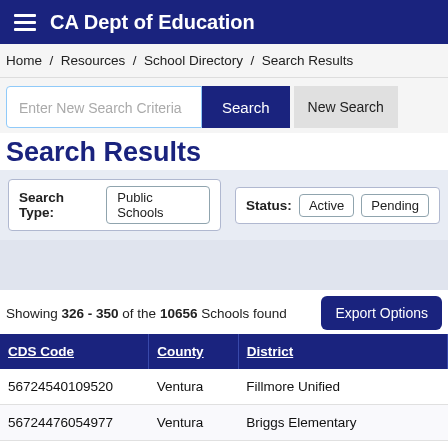CA Dept of Education
Home / Resources / School Directory / Search Results
Enter New Search Criteria | Search | New Search
Search Results
Search Type: Public Schools   Status: Active  Pending
Showing 326 - 350 of the 10656 Schools found
| CDS Code | County | District |
| --- | --- | --- |
| 56724540109520 | Ventura | Fillmore Unified |
| 56724476054977 | Ventura | Briggs Elementary |